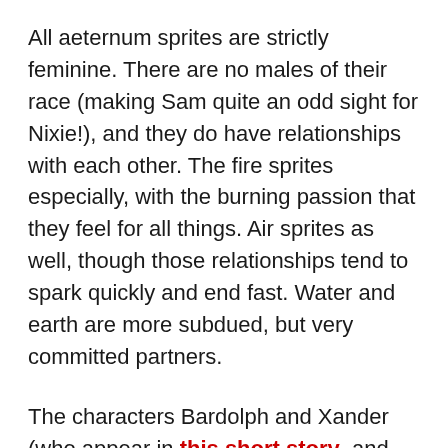All aeternum sprites are strictly feminine. There are no males of their race (making Sam quite an odd sight for Nixie!), and they do have relationships with each other. The fire sprites especially, with the burning passion that they feel for all things. Air sprites as well, though those relationships tend to spark quickly and end fast. Water and earth are more subdued, but very committed partners.
The characters Bardolph and Xander (who appear in this short story, and will be appearing later on in Brothers Apart season 3), are a pair of borrowers that will also fit on the spectrum. Barry has no interest in women, and Xander is surprised to find out he's